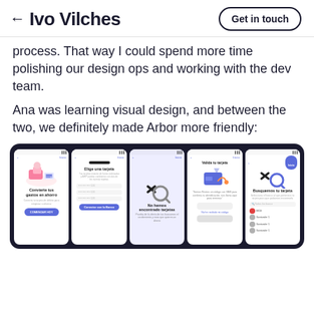← Ivo Vilches | Get in touch
process. That way I could spend more time polishing our design ops and working with the dev team.
Ana was learning visual design, and between the two, we definitely made Arbor more friendly:
[Figure (screenshot): Five mobile app screens showing the Arbor app UI: 1) Onboarding screen 'Convierte tus gastos en ahorro', 2) Card selection screen 'Elige una tarjeta', 3) Empty state screen 'No hemos encontrado tarjetas', 4) Card validation screen 'Valida tu tarjeta', 5) Card search screen 'Busquemos tu tarjeta']